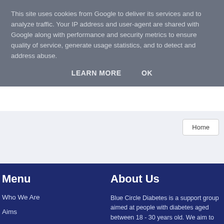This site uses cookies from Google to deliver its services and to analyze traffic. Your IP address and user-agent are shared with Google along with performance and security metrics to ensure quality of service, generate usage statistics, and to detect and address abuse.
LEARN MORE   OK
Home
Menu
About Us
Who We Are
Aims
Blue Circle Diabetes is a support group aimed at people with diabetes aged between 18 - 30 years old. We aim to provide friendship, support and research